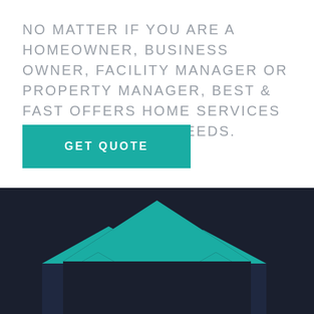No matter if you are a homeowner, business owner, facility manager or property manager, Best & Fast offers home services that meet your needs.
[Figure (illustration): Teal-colored house silhouette illustration on a dark navy background, showing roofline with peaks and windows]